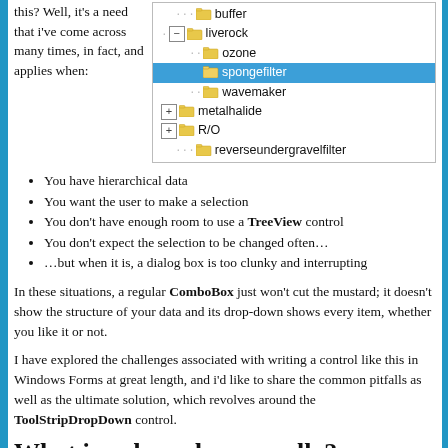this? Well, it's a need that i've come across many times, in fact, and applies when:
[Figure (screenshot): A tree-view control showing a hierarchical folder structure with items: buffer, liverock (expanded with ozone and spongefilter highlighted in blue), wavemaker, metalhalide, R/O, reverseundergravelfilter]
You have hierarchical data
You want the user to make a selection
You don’t have enough room to use a TreeView control
You don’t expect the selection to be changed often…
…but when it is, a dialog box is too clunky and interrupting
In these situations, a regular ComboBox just won’t cut the mustard; it doesn’t show the structure of your data and its drop-down shows every item, whether you like it or not.
I have explored the challenges associated with writing a control like this in Windows Forms at great length, and i’d like to share the common pitfalls as well as the ultimate solution, which revolves around the ToolStripDropDown control.
What is a drop-down, really?